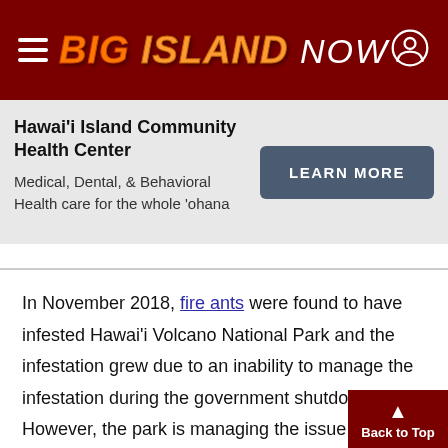BIG ISLAND NOW
Hawai'i Island Community Health Center
Medical, Dental, & Behavioral Health care for the whole 'ohana
LEARN MORE
In November 2018, fire ants were found to have infested Hawai'i Volcano National Park and the infestation grew due to an inability to manage the infestation during the government shutdown. However, the park is managing the issue now, holding closures once every six weeks with the goal of eradicating the population completely within